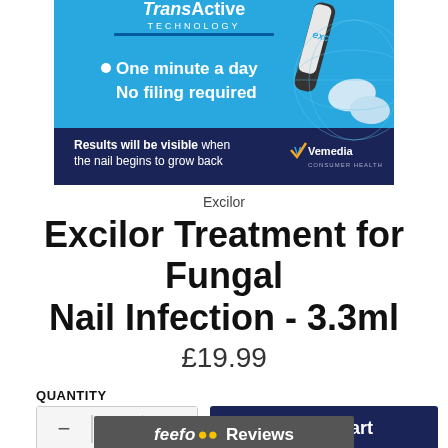[Figure (photo): Excilor product advertisement image showing TransActive Technology branding, pen applicator, fingernail illustration, text 'One minute a day No filing required', 'Results will be visible when the nail begins to grow back', and Vemedia Consumer Health logo on blue and dark background.]
Excilor
Excilor Treatment for Fungal Nail Infection - 3.3ml
£19.99
QUANTITY
− 1 +
Add to Cart
feefo Reviews